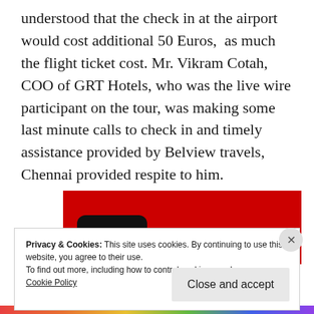understood that the check in at the airport would cost additional 50 Euros, as much the flight ticket cost. Mr. Vikram Cotah, COO of GRT Hotels, who was the live wire participant on the tour, was making some last minute calls to check in and timely assistance provided by Belview travels, Chennai provided respite to him.
[Figure (photo): A red remote control device on a red background]
Privacy & Cookies: This site uses cookies. By continuing to use this website, you agree to their use.
To find out more, including how to control cookies, see here:
Cookie Policy
Close and accept